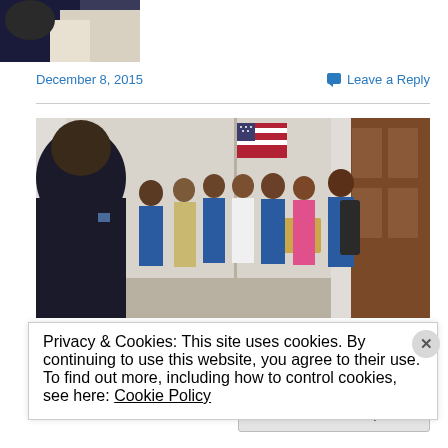[Figure (photo): Partial photo at top of page showing a person in dark clothing, cropped at the bottom edge]
December 8, 2015
Leave a Reply
[Figure (photo): Photo of a security officer in foreground and a group of young activists wearing blue t-shirts gathered near a door with an American flag in a government building hallway]
Privacy & Cookies: This site uses cookies. By continuing to use this website, you agree to their use.
To find out more, including how to control cookies, see here: Cookie Policy
Close and accept